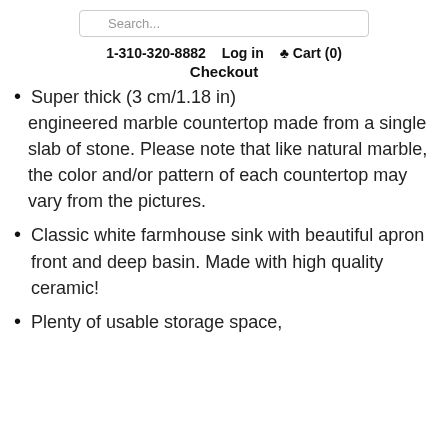1-310-320-8882  Log in  Cart (0)
Checkout
Super thick (3 cm/1.18 in) engineered marble countertop made from a single slab of stone. Please note that like natural marble, the color and/or pattern of each countertop may vary from the pictures.
Classic white farmhouse sink with beautiful apron front and deep basin. Made with high quality ceramic!
Plenty of usable storage space,